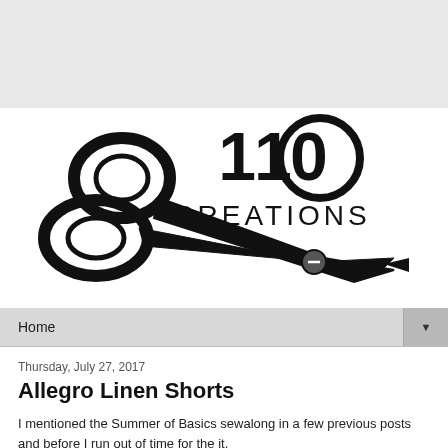[Figure (logo): 110 Creations logo with large scissors illustration on the left and '110 CREATIONS' text on the right in bold stylized font]
Home
Thursday, July 27, 2017
Allegro Linen Shorts
I mentioned the Summer of Basics sewalong in a few previous posts and before I run out of time for the it,